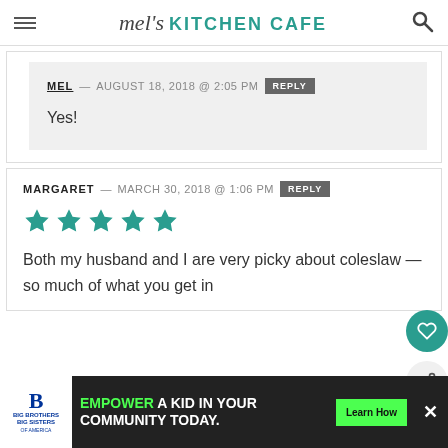mel's KITCHEN CAFE
MEL — AUGUST 18, 2018 @ 2:05 PM | REPLY
Yes!
MARGARET — MARCH 30, 2018 @ 1:06 PM | REPLY
[Figure (other): 5 teal/green filled star rating icons]
Both my husband and I are very picky about coleslaw — so much of what you get in
[Figure (other): Advertisement banner: Big Brothers Big Sisters logo, text 'EMPOWER A KID IN YOUR COMMUNITY TODAY.', green Learn How button, and close X button]